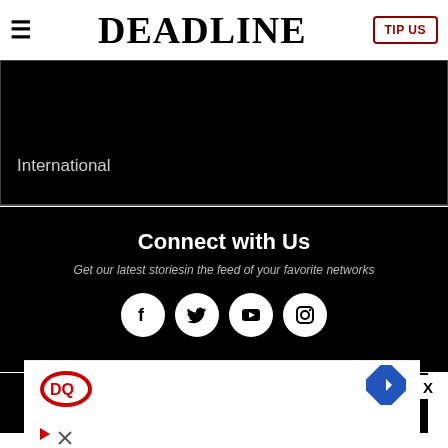≡ DEADLINE TIP US
International
Connect with Us
Get our latest storiesin the feed of your favorite networks
[Figure (infographic): Four social media icons in white circles: Facebook, Twitter, YouTube, Instagram]
[Figure (infographic): Advertisement banner with Dairy Queen logo, navigation arrow icon, play button, and X icon]